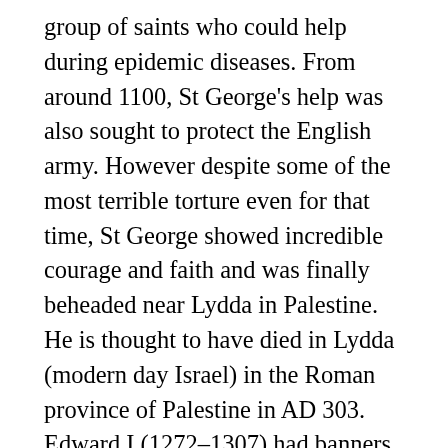group of saints who could help during epidemic diseases. From around 1100, St George's help was also sought to protect the English army. However despite some of the most terrible torture even for that time, St George showed incredible courage and faith and was finally beheaded near Lydda in Palestine. He is thought to have died in Lydda (modern day Israel) in the Roman province of Palestine in AD 303. Edward I (1272–1307) had banners bearing the emblem of St George (a red cross on a white background) and Edward III (1327–77) had a strong interest in the saint and owned a relic of his blood. At St. George's, we make students' dreams our mission. In William Shakespeare's Henry V, the monarch